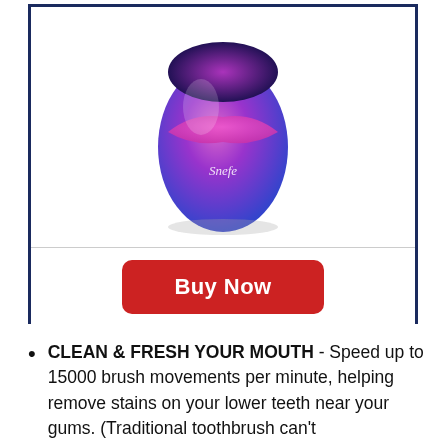[Figure (photo): Egg-shaped electric toothbrush device with purple-to-blue gradient color scheme and 'Snefe' text, shown inside a dark navy border box]
Buy Now
CLEAN & FRESH YOUR MOUTH - Speed up to 15000 brush movements per minute, helping remove stains on your lower teeth near your gums. (Traditional toothbrush can't